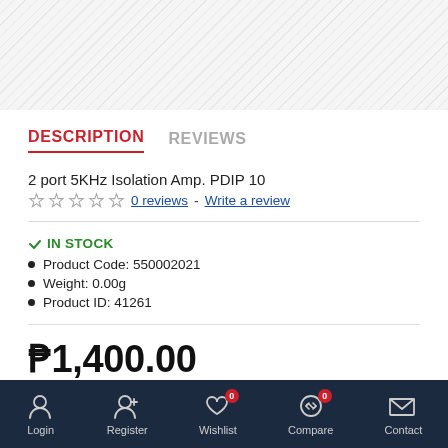[Figure (other): Diagonal hatched gray pattern background at top of page]
DESCRIPTION
REVIEWS
2 port 5KHz Isolation Amp. PDIP 10
0 reviews - Write a review
IN STOCK
Product Code: 550002021
Weight: 0.00g
Product ID: 41261
₱1,400.00
Login  Register  Wishlist 0  Compare 0  Contact